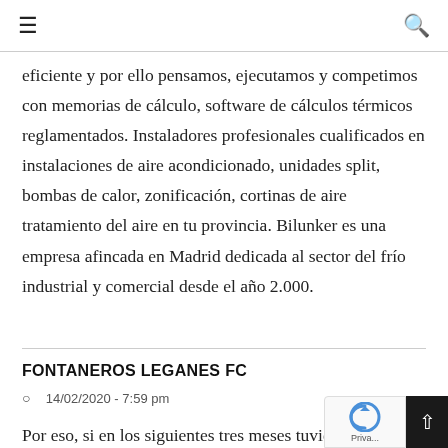☰ [menu] [search]
eficiente y por ello pensamos, ejecutamos y competimos con memorias de cálculo, software de cálculos térmicos reglamentados. Instaladores profesionales cualificados en instalaciones de aire acondicionado, unidades split, bombas de calor, zonificación, cortinas de aire tratamiento del aire en tu provincia. Bilunker es una empresa afincada en Madrid dedicada al sector del frío industrial y comercial desde el año 2.000.
FONTANEROS LEGANES FC
14/02/2020 - 7:59 pm
Por eso, si en los siguientes tres meses tuviera algú...